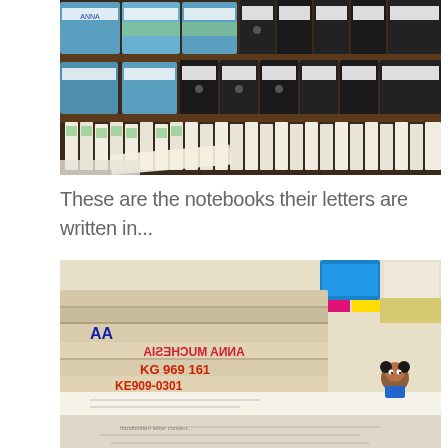[Figure (photo): Shelves filled with rows of binders and labeled folders/notebooks stacked horizontally, in blue and black colors with handwritten labels]
These are the notebooks their letters are written in...
[Figure (photo): Stack of worn notebooks with handwritten labels including 'ANNA MUCHESIA', 'KG 969 161', 'KE909-0301', and a cartoon character sticker, with a letter visible underneath]
[Figure (photo): Close-up partial view of a handwritten letter on paper]